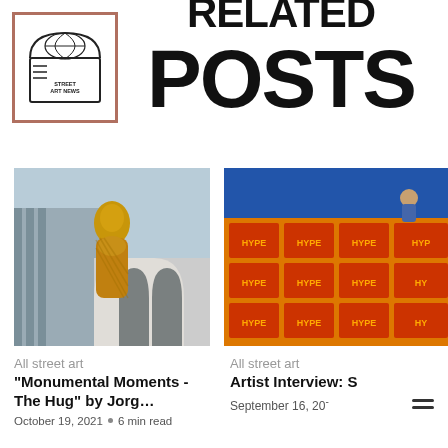[Figure (logo): Street Art News logo: arched globe/building graphic with text 'STREET ART NEWS' inside a bordered box]
RELATED POSTS
[Figure (photo): Golden metallic sculpture of two hugging figures in front of Lincoln Center building]
All street art
“Monumental Moments - The Hug” by Jorg…
October 19, 2021 • 6 min read
[Figure (photo): Colorful HYPE-branded mural installation on a building exterior with artist sitting on top, blue and orange colors]
All street art
Artist Interview: S
September 16, 20⁻